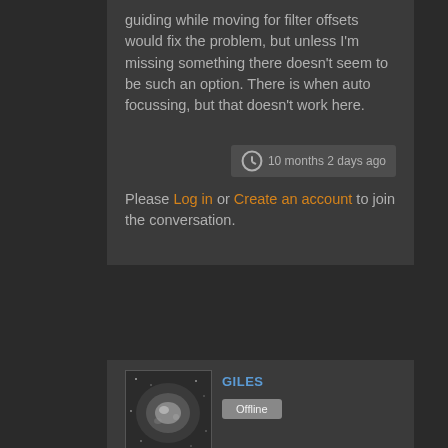guiding while moving for filter offsets would fix the problem, but unless I'm missing something there doesn't seem to be such an option. There is when auto focussing, but that doesn't work here.
10 months 2 days ago
Please Log in or Create an account to join the conversation.
GILES
Offline